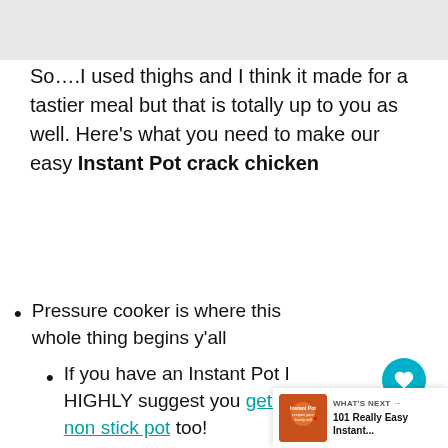So….I used thighs and I think it made for a tastier meal but that is totally up to you as well. Here's what you need to make our easy Instant Pot crack chicken
Pressure cooker is where this whole thing begins y'all
If you have an Instant Pot I HIGHLY suggest you get a non stick pot too!